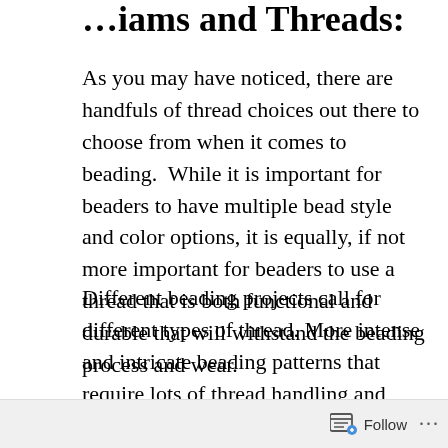…iams and Threads:
As you may have noticed, there are handfuls of thread choices out there to choose from when it comes to beading.  While it is important for beaders to have multiple bead style and color options, it is equally, if not more important for beaders to use a thread that is both functional and durable that will withstand the beading process and wear.
Different beading projects call for different types of thread. More intense and intricate beading patterns that require lots of thread handling and passes through beads, may
Follow …